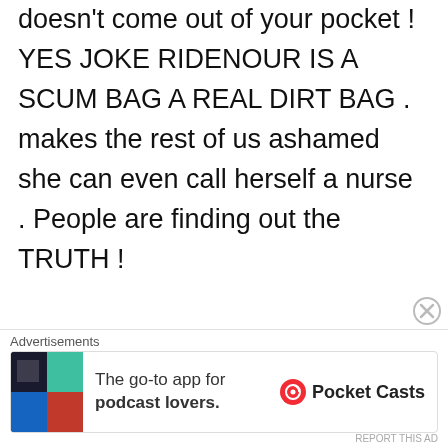doesn't come out of your pocket ! YES JOKE RIDENOUR IS A SCUM BAG A REAL DIRT BAG . makes the rest of us ashamed she can even call herself a nurse . People are finding out the TRUTH !
2 the point says:
July 29, 2020 at 1:40 pm
When Heather Carter has signs all over stating "...
Advertisements
The go-to app for podcast lovers.
Pocket Casts
REPORT THIS AD